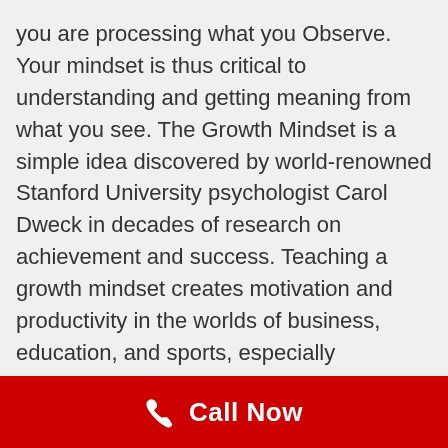you are processing what you Observe. Your mindset is thus critical to understanding and getting meaning from what you see. The Growth Mindset is a simple idea discovered by world-renowned Stanford University psychologist Carol Dweck in decades of research on achievement and success. Teaching a growth mindset creates motivation and productivity in the worlds of business, education, and sports, especially volleyball.
[Figure (photo): Two men in a gym/volleyball setting. One man wears a white cap. Background shows white walls with equipment mounted.]
Call Now